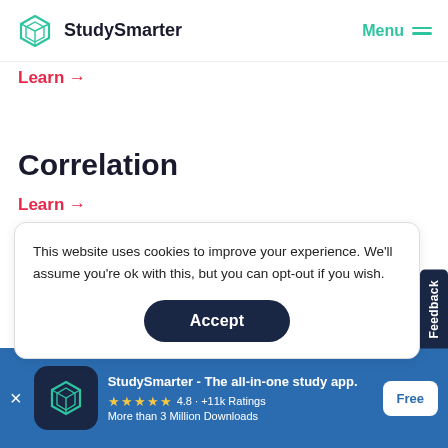StudySmarter | Menu
Learn →
Correlation
Learn →
This website uses cookies to improve your experience. We'll assume you're ok with this, but you can opt-out if you wish.
Accept
Feedback
Learn
StudySmarter - The all-in-one study app. ★★★★★ 4.8 · +11k Ratings More than 3 Million Downloads
Free